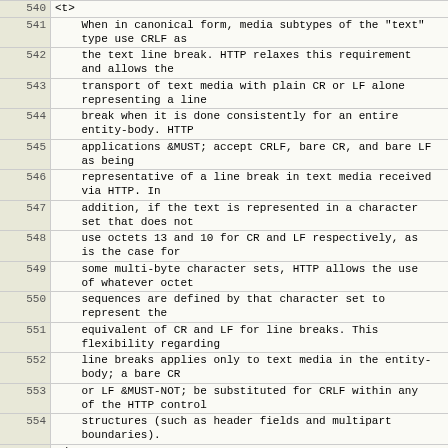| line | code |
| --- | --- |
| 540 | <t> |
| 541 |     When in canonical form, media subtypes of the "text"
    type use CRLF as |
| 542 |     the text line break. HTTP relaxes this requirement
    and allows the |
| 543 |     transport of text media with plain CR or LF alone
    representing a line |
| 544 |     break when it is done consistently for an entire
    entity-body. HTTP |
| 545 |     applications &MUST; accept CRLF, bare CR, and bare LF
    as being |
| 546 |     representative of a line break in text media received
    via HTTP. In |
| 547 |     addition, if the text is represented in a character
    set that does not |
| 548 |     use octets 13 and 10 for CR and LF respectively, as
    is the case for |
| 549 |     some multi-byte character sets, HTTP allows the use
    of whatever octet |
| 550 |     sequences are defined by that character set to
    represent the |
| 551 |     equivalent of CR and LF for line breaks. This
    flexibility regarding |
| 552 |     line breaks applies only to text media in the entity-
    body; a bare CR |
| 553 |     or LF &MUST-NOT; be substituted for CRLF within any
    of the HTTP control |
| 554 |     structures (such as header fields and multipart
    boundaries). |
| 555 | </t> |
| 556 | <t> |
| 557 |     If an entity-body is encoded with a content-coding,
    the underlying |
| 558 |     data &MUST; be in a form defined above prior to being |